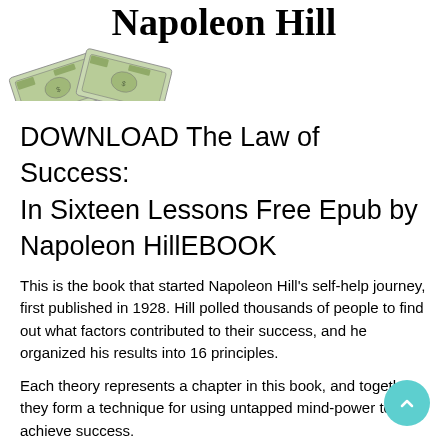Napoleon Hill
[Figure (illustration): Illustration of dollar bills / money spread out]
DOWNLOAD The Law of Success: In Sixteen Lessons Free Epub by Napoleon HillEBOOK
This is the book that started Napoleon Hill’s self-help journey, first published in 1928. Hill polled thousands of people to find out what factors contributed to their success, and he organized his results into 16 principles.
Each theory represents a chapter in this book, and together they form a technique for using untapped mind-power to achieve success.